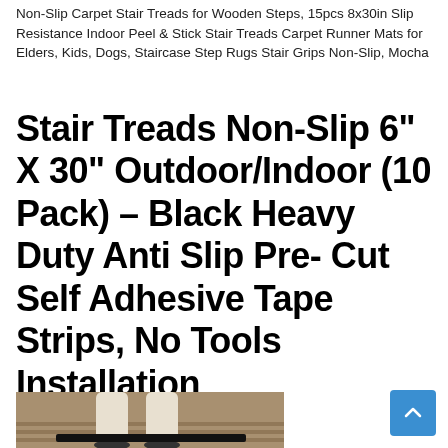Non-Slip Carpet Stair Treads for Wooden Steps, 15pcs 8x30in Slip Resistance Indoor Peel & Stick Stair Treads Carpet Runner Mats for Elders, Kids, Dogs, Staircase Step Rugs Stair Grips Non-Slip, Mocha
Stair Treads Non-Slip 6" X 30" Outdoor/Indoor (10 Pack) – Black Heavy Duty Anti Slip Pre- Cut Self Adhesive Tape Strips, No Tools Installation
[Figure (photo): Partial photo showing a person's lower body on wooden deck stairs with black stair treads applied]